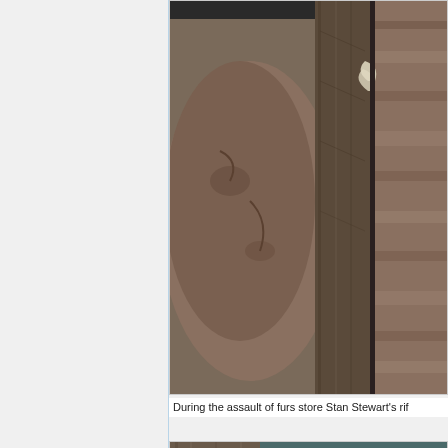[Figure (photo): Close-up photo of what appears to be worn leather or animal hide material next to wooden posts or beams with textured surfaces, likely movie or TV set props]
During the assault of furs store Stan Stewart's rif
[Figure (photo): Photo of an elderly man with white/silver hair, viewed from the side, appearing to be in distress or shouting, surrounded by wooden plank surfaces]